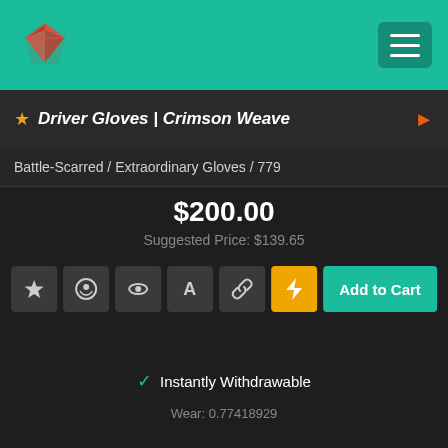Driver Gloves | Crimson Weave
Battle-Scarred / Extraordinary Gloves / 779
$200.00
Suggested Price: $139.65
Instantly Withdrawable
Wear: 0.77418929